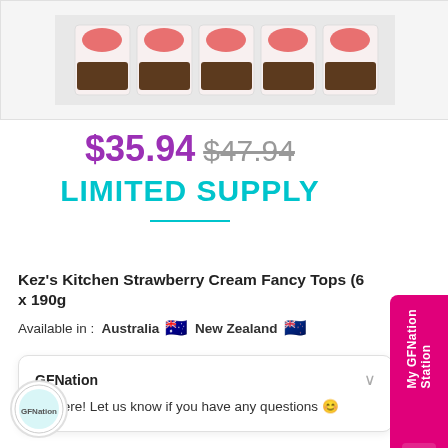[Figure (photo): Product image showing multiple packages of Kez's Kitchen Strawberry Cream Fancy Tops arranged in a row]
$35.94 $47.94
LIMITED SUPPLY
Kez's Kitchen Strawberry Cream Fancy Tops (6 x 190g
Available in :  Australia 🇦🇺  New Zealand 🇳🇿
GFNation
Hi there! Let us know if you have any questions 😊
[Figure (logo): GFNation circular logo at bottom left]
[Figure (other): MyGFNation Station pink sidebar tab on the right side]